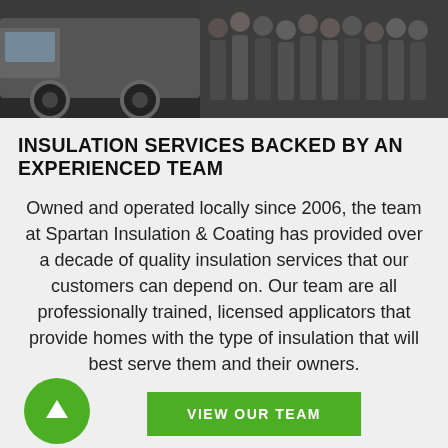[Figure (photo): Photo of a truck and a group of people standing in a warehouse or parking area]
INSULATION SERVICES BACKED BY AN EXPERIENCED TEAM
Owned and operated locally since 2006, the team at Spartan Insulation & Coating has provided over a decade of quality insulation services that our customers can depend on. Our team are all professionally trained, licensed applicators that provide homes with the type of insulation that will best serve them and their owners.
VIEW OUR TEAM